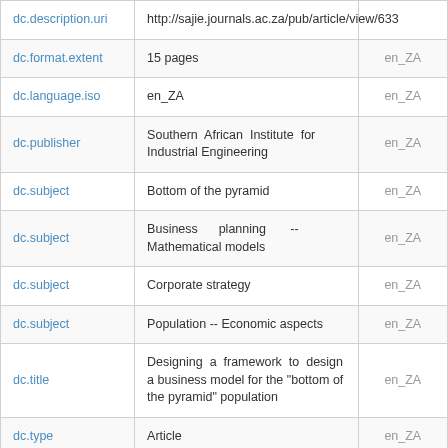| Field | Value | Language |
| --- | --- | --- |
| dc.description.uri | http://sajie.journals.ac.za/pub/article/view/633 |  |
| dc.format.extent | 15 pages | en_ZA |
| dc.language.iso | en_ZA | en_ZA |
| dc.publisher | Southern African Institute for Industrial Engineering | en_ZA |
| dc.subject | Bottom of the pyramid | en_ZA |
| dc.subject | Business planning -- Mathematical models | en_ZA |
| dc.subject | Corporate strategy | en_ZA |
| dc.subject | Population -- Economic aspects | en_ZA |
| dc.title | Designing a framework to design a business model for the "bottom of the pyramid" population | en_ZA |
| dc.type | Article | en_ZA |